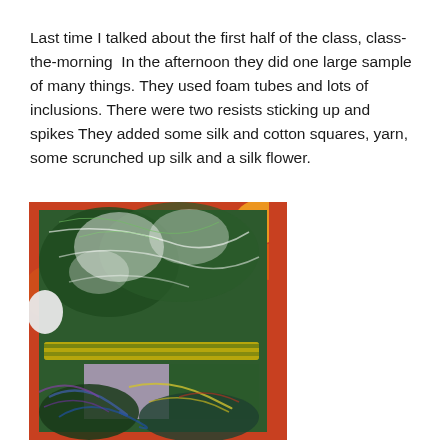Last time I talked about the first half of the class, class-the-morning  In the afternoon they did one large sample of many things. They used foam tubes and lots of inclusions. There were two resists sticking up and spikes They added some silk and cotton squares, yarn,  some scrunched up silk and a silk flower.
[Figure (photo): A close-up photograph of a wet felting project in progress, showing green, purple, yellow, and multi-colored fibers with inclusions such as yarn, silk squares, and other materials layered on a colorful red/orange patterned background.]